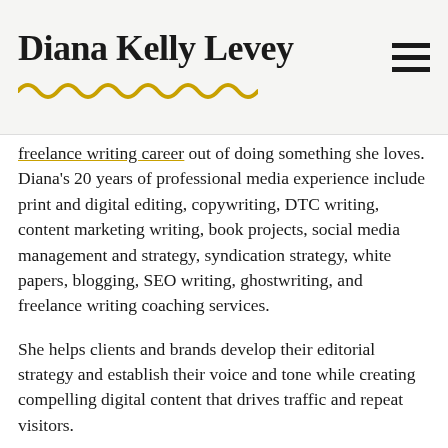Diana Kelly Levey
freelance writing career out of doing something she loves. Diana's 20 years of professional media experience include print and digital editing, copywriting, DTC writing, content marketing writing, book projects, social media management and strategy, syndication strategy, white papers, blogging, SEO writing, ghostwriting, and freelance writing coaching services.
She helps clients and brands develop their editorial strategy and establish their voice and tone while creating compelling digital content that drives traffic and repeat visitors.
Diana is at her best when she's covering topics, products, and services that help people and can improve readers' lives in some way.